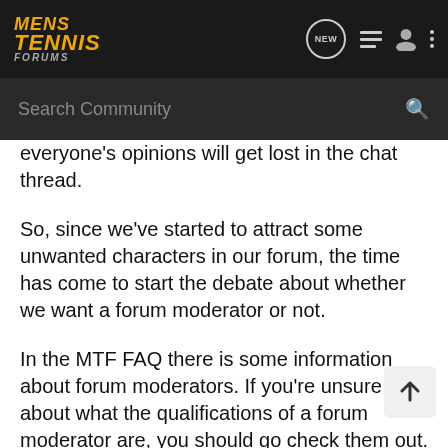MENS TENNIS FORUMS
everyone's opinions will get lost in the chat thread.
So, since we've started to attract some unwanted characters in our forum, the time has come to start the debate about whether we want a forum moderator or not.
In the MTF FAQ there is some information about forum moderators. If you're unsure about what the qualifications of a forum moderator are, you should go check them out.
In order for us to get a moderator we would need to express to Amanda that we all want one. It would need to be a group decision. If only a few people want one and the majority don't, we would not get one.
Next, we would need to have a nomination where all the members...